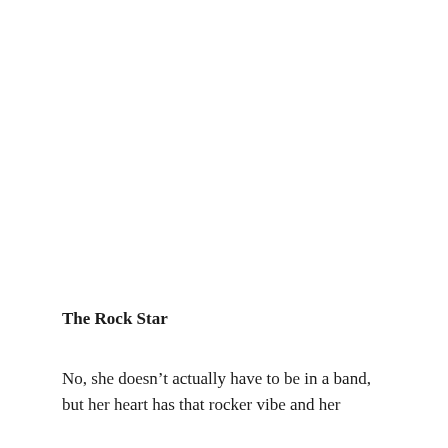The Rock Star
No, she doesn’t actually have to be in a band, but her heart has that rocker vibe and her